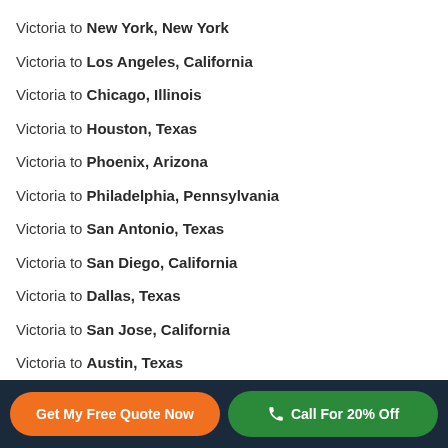Victoria to New York, New York
Victoria to Los Angeles, California
Victoria to Chicago, Illinois
Victoria to Houston, Texas
Victoria to Phoenix, Arizona
Victoria to Philadelphia, Pennsylvania
Victoria to San Antonio, Texas
Victoria to San Diego, California
Victoria to Dallas, Texas
Victoria to San Jose, California
Victoria to Austin, Texas
Victoria to Jacksonville, Florida
Victoria to Fort Worth, Texas
Get My Free Quote Now | Call For 20% Off